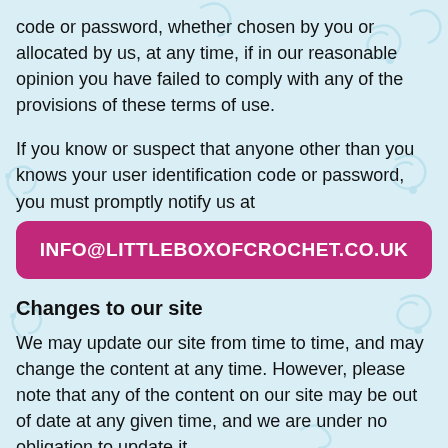code or password, whether chosen by you or allocated by us, at any time, if in our reasonable opinion you have failed to comply with any of the provisions of these terms of use.
If you know or suspect that anyone other than you knows your user identification code or password, you must promptly notify us at
INFO@LITTLEBOXOFCROCHET.CO.UK
Changes to our site
We may update our site from time to time, and may change the content at any time. However, please note that any of the content on our site may be out of date at any given time, and we are under no obligation to update it.
We do not guarantee that our site, or any content on it, will be free from errors or omissions.